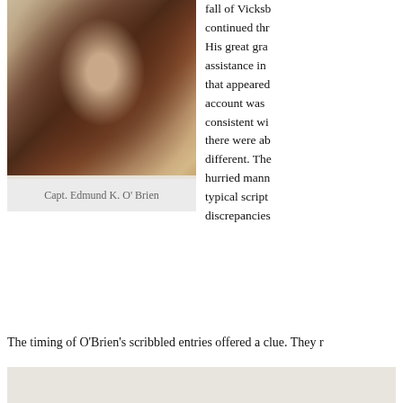[Figure (photo): Sepia-toned portrait photograph of a Civil War era Union officer in uniform, identified as Capt. Edmund K. O'Brien]
Capt. Edmund K. O' Brien
fall of Vicksb continued thr His great gra assistance in that appeared account was consistent wi there were ab different. The hurried mann typical script discrepancies
The timing of O'Brien's scribbled entries offered a clue. They r
[Figure (photo): Bottom partial image, grey background area]